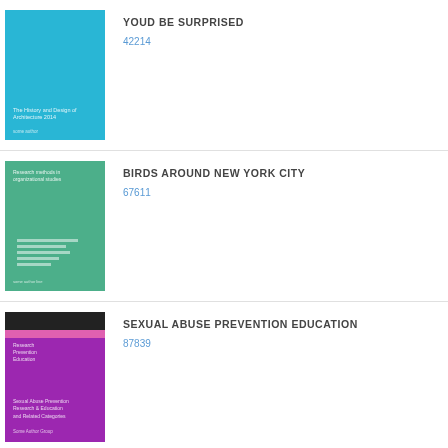[Figure (illustration): Blue book cover with white text]
YOUD BE SURPRISED
42214
[Figure (illustration): Green/teal book cover with bar chart design]
BIRDS AROUND NEW YORK CITY
67611
[Figure (illustration): Purple book cover with dark top bar and pink stripe]
SEXUAL ABUSE PREVENTION EDUCATION
87839
[Figure (illustration): Cream/off-white book cover with dark text]
OUTLINE OF THE SMALLER BRITISH BIRDS
50097